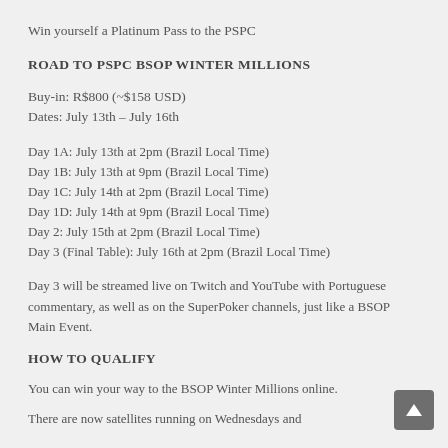Win yourself a Platinum Pass to the PSPC
ROAD TO PSPC BSOP WINTER MILLIONS
Buy-in: R$800 (~$158 USD)
Dates: July 13th – July 16th
Day 1A: July 13th at 2pm (Brazil Local Time)
Day 1B: July 13th at 9pm (Brazil Local Time)
Day 1C: July 14th at 2pm (Brazil Local Time)
Day 1D: July 14th at 9pm (Brazil Local Time)
Day 2: July 15th at 2pm (Brazil Local Time)
Day 3 (Final Table): July 16th at 2pm (Brazil Local Time)
Day 3 will be streamed live on Twitch and YouTube with Portuguese commentary, as well as on the SuperPoker channels, just like a BSOP Main Event.
HOW TO QUALIFY
You can win your way to the BSOP Winter Millions online.
There are now satellites running on Wednesdays and